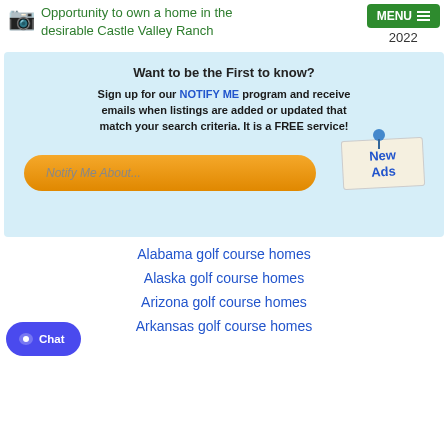Opportunity to own a home in the desirable Castle Valley Ranch 2022
[Figure (infographic): Light blue notification signup box with text 'Want to be the First to know?' and 'Sign up for our NOTIFY ME program and receive emails when listings are added or updated that match your search criteria. It is a FREE service!' with an orange 'Notify Me About...' button and a paper note with 'New Ads' pinned with a blue thumbtack]
Alabama golf course homes
Alaska golf course homes
Arizona golf course homes
Arkansas golf course homes